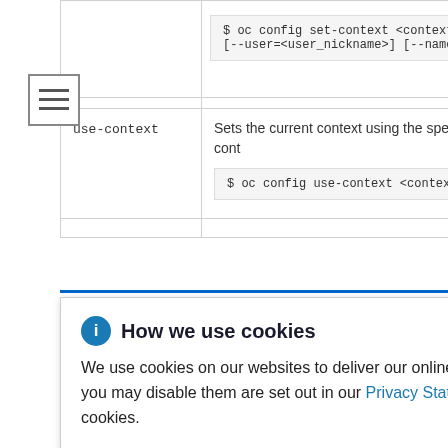| Command | Description |
| --- | --- |
|  | $ oc config set-context <context_
[--user=<user_nickname>] [--names |
| use-context | Sets the current context using the specified conf
$ oc config use-context <context_ |
|  | e CLI configurati
...erty_name> <
...ach token repres |
| unset | Unsets individual values in the CLI configuration |
[Figure (screenshot): Hamburger menu icon (three horizontal bars) in a bordered square]
How we use cookies

We use cookies on our websites to deliver our online services. Details about how we use cookies and how you may disable them are set out in our Privacy Statement. By using this website you agree to our use of cookies.